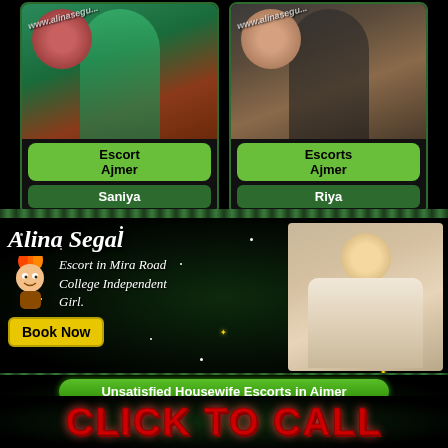[Figure (photo): Profile card photo of Saniya - woman with red hair wearing green top]
Escort Ajmer
Saniya
[Figure (photo): Profile card photo of Riya - woman in dark outfit on brown sofa]
Escorts Ajmer
Riya
[Figure (infographic): Advertisement banner for Alina Segal escort service with mascot, Book Now button, and model photo]
Alina Segal
Escort in Mira Road College Independent Girl.
Book Now
Unsatisfied Housewife Escorts in Ajmer
Bangladeshi Ajmer Escorts
Ajmer VIP Escorts
CLICK TO CALL